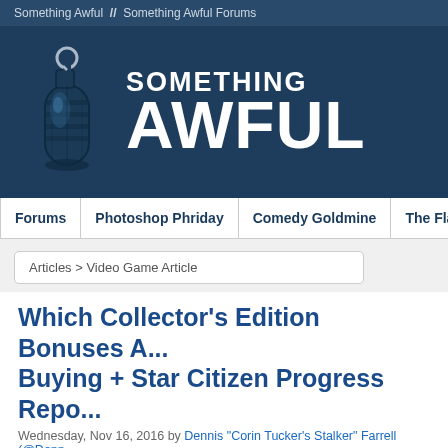Something Awful  //  Something Awful Forums
[Figure (logo): Something Awful website header with grenade logo and 'SOMETHING AWFUL' text on dark blue background]
Forums | Photoshop Phriday | Comedy Goldmine | The Flash Tub | WTF, D...
Articles > Video Game Article
Which Collector's Edition Bonuses A... Buying + Star Citizen Progress Repo...
Wednesday, Nov 16, 2016 by Dennis "Corin Tucker's Stalker" Farrell (@Denn...
Star Citizen Progress Report
It's time to check in on the development of Star Citizen! So, what's... last year? Here's the complete list: